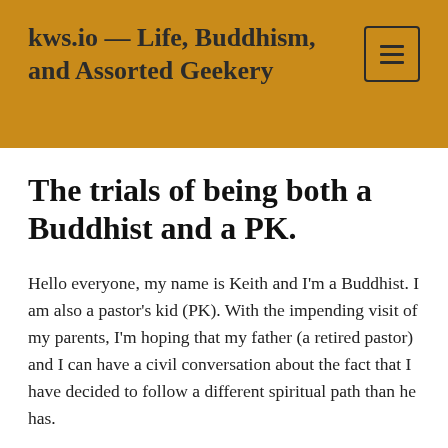kws.io — Life, Buddhism, and Assorted Geekery
The trials of being both a Buddhist and a PK.
Hello everyone, my name is Keith and I'm a Buddhist. I am also a pastor's kid (PK). With the impending visit of my parents, I'm hoping that my father (a retired pastor) and I can have a civil conversation about the fact that I have decided to follow a different spiritual path than he has.
There are some irreconcilable differences between Buddhism and Christianity...